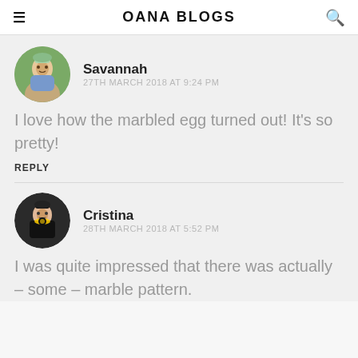OANA BLOGS
Savannah
27TH MARCH 2018 AT 9:24 PM
I love how the marbled egg turned out! It's so pretty!
REPLY
Cristina
28TH MARCH 2018 AT 5:52 PM
I was quite impressed that there was actually – some – marble pattern.